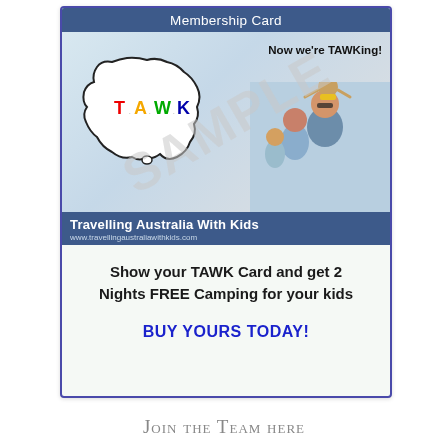[Figure (infographic): TAWK Membership Card sample showing Travelling Australia With Kids branding with Australia map outline, TAWK logo letters in red/yellow/green/blue, family photo, 'Now we're TAWKing!' slogan, and SAMPLE watermark diagonal overlay. Top banner: 'Membership Card'. Bottom banner: 'Travelling Australia With Kids' and website URL.]
Show your TAWK Card and get 2 Nights FREE Camping for your kids
BUY YOURS TODAY!
Join the Team here